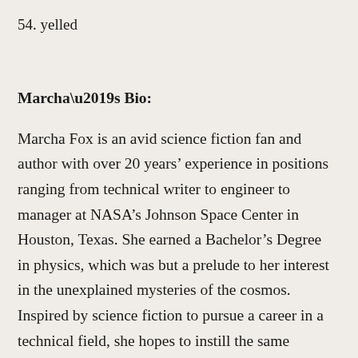54. yelled
Marcha’s Bio:
Marcha Fox is an avid science fiction fan and author with over 20 years’ experience in positions ranging from technical writer to engineer to manager at NASA’s Johnson Space Center in Houston, Texas. She earned a Bachelor’s Degree in physics, which was but a prelude to her interest in the unexplained mysteries of the cosmos. Inspired by science fiction to pursue a career in a technical field, she hopes to instill the same fascination in young readers, while